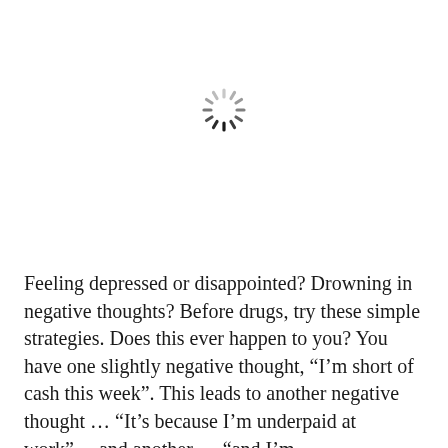[Figure (other): A loading spinner icon — circular arrangement of short dashes radiating outward, varying from dark gray/black to light gray, indicating a loading state.]
Feeling depressed or disappointed? Drowning in negative thoughts? Before drugs, try these simple strategies. Does this ever happen to you? You have one slightly negative thought, “I’m short of cash this week”. This leads to another negative thought … “It’s because I’m underpaid at work”… and another … “and I’m underappreciated at home” … followed by … “